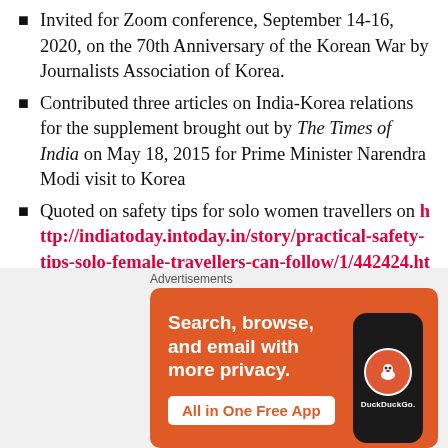Invited for Zoom conference, September 14-16, 2020, on the 70th Anniversary of the Korean War by Journalists Association of Korea.
Contributed three articles on India-Korea relations for the supplement brought out by The Times of India on May 18, 2015 for Prime Minister Narendra Modi visit to Korea
Quoted on safety tips for solo women travellers on http://indiatoday.intoday.in/story/practical-safety-tips-solo-female-travellers-can-follow/1/442424.html
Awarded a Certificate of Merit by the Youth Welfare Council of India for Contribution in Media for Pati...
[Figure (infographic): DuckDuckGo advertisement banner: orange background, text 'Search, browse, and email with more privacy.' with 'All in One Free App' button, and a phone graphic showing the DuckDuckGo logo.]